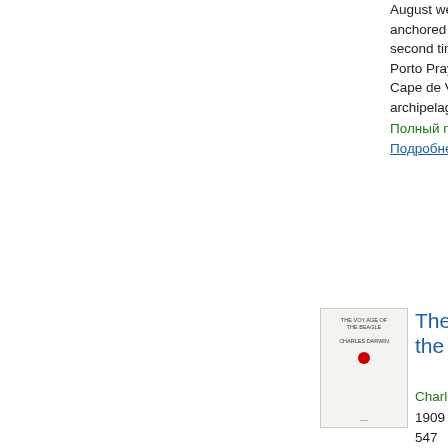August we anchored for second time at Porto Praya in Cape de Verde archipelago;...
Полный про...
Подробнее о...
[Figure (photo): Book cover thumbnail of 'The Voyage of the Beagle']
The Voyage of the Beagle...
Charles Darwin...
1909 - Стран... 547
...cry of liberty have been and so guilty : but consolation to reflect, that we least have made greater sacrifices than ever made by any nation, to expiate our sins. On the last day of August we anchored for second time at...